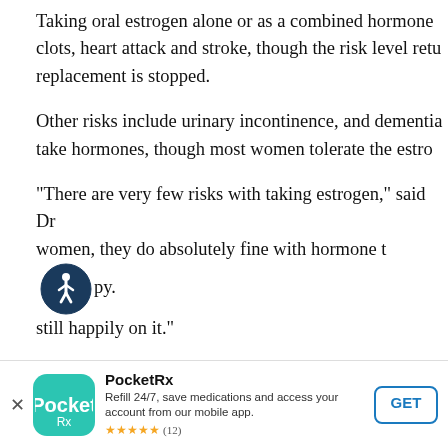Taking oral estrogen alone or as a combined hormone... clots, heart attack and stroke, though the risk level returns... replacement is stopped.
Other risks include urinary incontinence, and dementia... take hormones, though most women tolerate the estro...
"There are very few risks with taking estrogen," said Dr... women, they do absolutely fine with hormone therapy. still happily on it."
Women who take estrogen combined with progestin al... developing breast cancer. The breast cancer is more li... the lymph nodes at the time it is diagnosed, the Nation...
[Figure (other): Accessibility icon — circular dark blue badge with white wheelchair user symbol]
PocketRx — Refill 24/7, save medications and access your account from our mobile app. ★★★★★ (12)